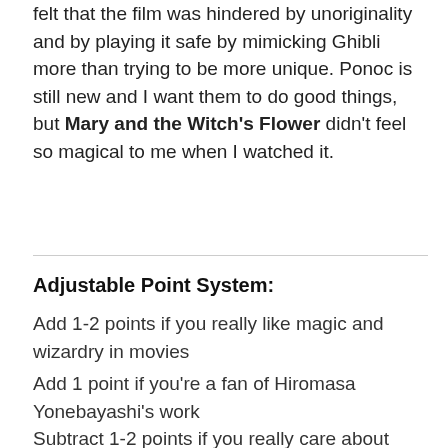felt that the film was hindered by unoriginality and by playing it safe by mimicking Ghibli more than trying to be more unique. Ponoc is still new and I want them to do good things, but Mary and the Witch's Flower didn't feel so magical to me when I watched it.
Adjustable Point System:
Add 1-2 points if you really like magic and wizardry in movies
Add 1 point if you're a fan of Hiromasa Yonebayashi's work
Subtract 1-2 points if you really care about